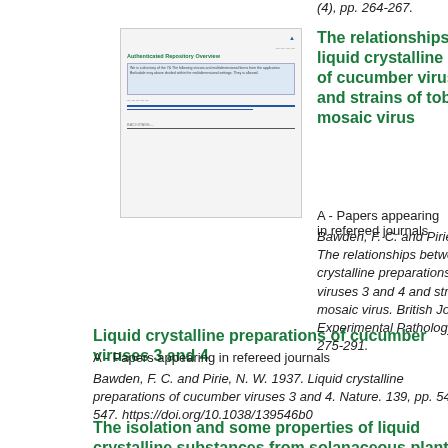(4), pp. 264-267.
[Figure (other): Thumbnail preview of a document page showing a formatted academic reference page with green title text, blue underlines, and small body text.]
The relationships between liquid crystalline preparations of cucumber viruses 3 and 4 and strains of tobacco mosaic virus
A - Papers appearing in refereed journals
Bawden, F. C. and Pirie, N. W. 1937. The relationships between liquid crystalline preparations of cucumber viruses 3 and 4 and strains of tobacco mosaic virus. British Journal of Experimental Pathology. 18 (4), pp. 275-291.
Liquid crystalline preparations of cucumber viruses 3 and 4
A - Papers appearing in refereed journals
Bawden, F. C. and Pirie, N. W. 1937. Liquid crystalline preparations of cucumber viruses 3 and 4. Nature. 139, pp. 546-547. https://doi.org/10.1038/139546b0
The isolation and some properties of liquid crystalline substances from solanaceous plants infected with three strains of tobacco mosaic virus